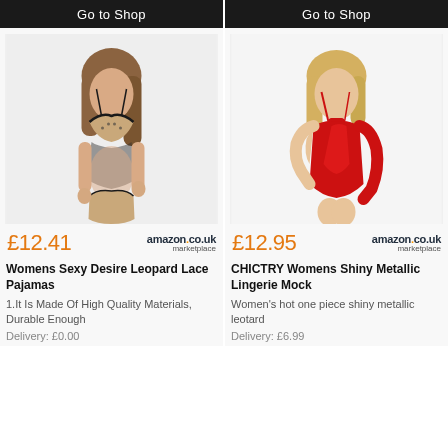Go to Shop
Go to Shop
[Figure (photo): Woman wearing black and leopard print lace lingerie set (bra and panty)]
[Figure (photo): Woman wearing red shiny metallic mock neck halter bodysuit with gloves]
£12.41
amazon.co.uk marketplace
£12.95
amazon.co.uk marketplace
Womens Sexy Desire Leopard Lace Pajamas
CHICTRY Womens Shiny Metallic Lingerie Mock
1.It Is Made Of High Quality Materials, Durable Enough
Women's hot one piece shiny metallic leotard
Delivery: £0.00
Delivery: £6.99